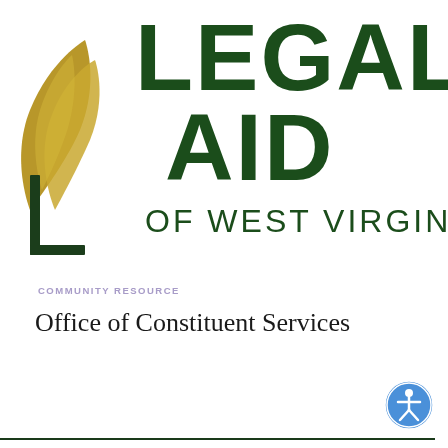[Figure (logo): Legal Aid of West Virginia logo — partial view showing gold flame/leaf icon on left, dark green bold text 'LEGAL AID' with 'OF WEST VIRGINIA' below]
COMMUNITY RESOURCE
Office of Constituent Services